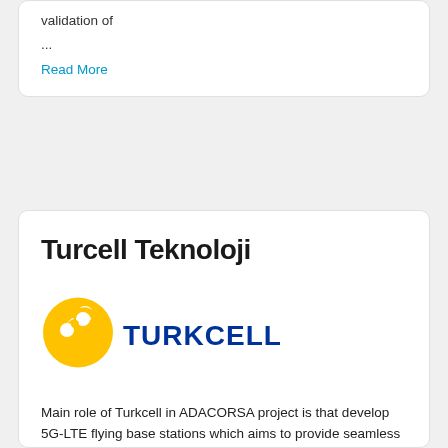validation of
...
Read More
Turcell Teknoloji
[Figure (logo): Turkcell logo: yellow circular icon with two white signal dots and bold blue TURKCELL text]
Main role of Turkcell in ADACORSA project is that develop 5G-LTE flying base stations which aims to provide seamless